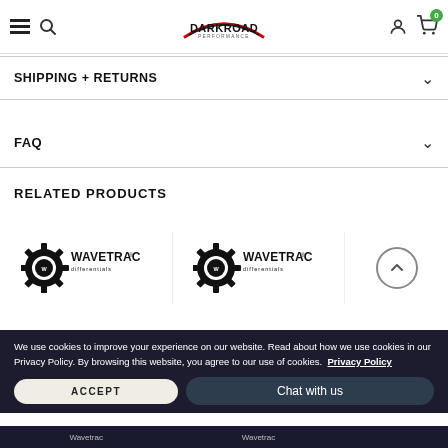Darkroad Performance - navigation header with hamburger menu, search, logo, user icon, cart (0)
SHIPPING + RETURNS
FAQ
RELATED PRODUCTS
[Figure (logo): Wavetrac differentials logo - gear icon with text]
[Figure (logo): Wavetrac differentials logo - gear icon with text]
[Figure (logo): Wavetrac differentials logo partial with up-arrow circle navigation button]
We use cookies to improve your experience on our website. Read about how we use cookies in our Privacy Policy. By browsing this website, you agree to our use of cookies. Privacy Policy
ACCEPT
Chat with us